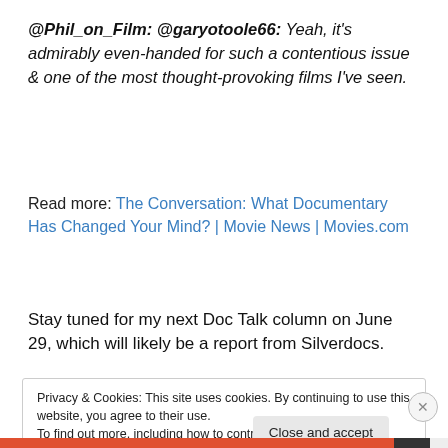@Phil_on_Film: @garyotoole66: Yeah, it's admirably even-handed for such a contentious issue & one of the most thought-provoking films I've seen.
Read more: The Conversation: What Documentary Has Changed Your Mind? | Movie News | Movies.com
Stay tuned for my next Doc Talk column on June 29, which will likely be a report from Silverdocs.
Privacy & Cookies: This site uses cookies. By continuing to use this website, you agree to their use. To find out more, including how to control cookies, see here: Cookie Policy
Close and accept